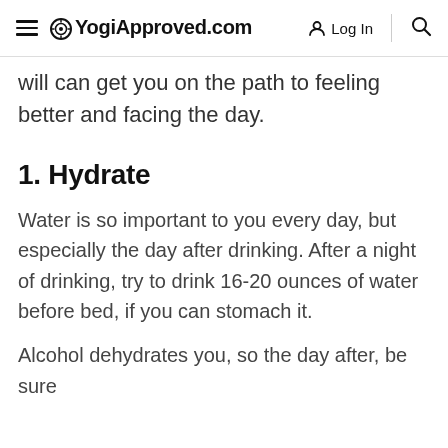YogiApproved.com  Log In
will can get you on the path to feeling better and facing the day.
1. Hydrate
Water is so important to you every day, but especially the day after drinking. After a night of drinking, try to drink 16-20 ounces of water before bed, if you can stomach it.
Alcohol dehydrates you, so the day after, be sure